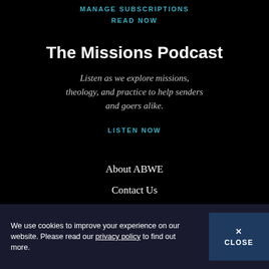MANAGE SUBSCRIPTIONS
READ NOW
The Missions Podcast
Listen as we explore missions, theology, and practice to help senders and goers alike.
LISTEN NOW
About ABWE
Contact Us
Contact a Missionary
Jobs
We use cookies to improve your experience on our website. Please read our privacy policy to find out more.